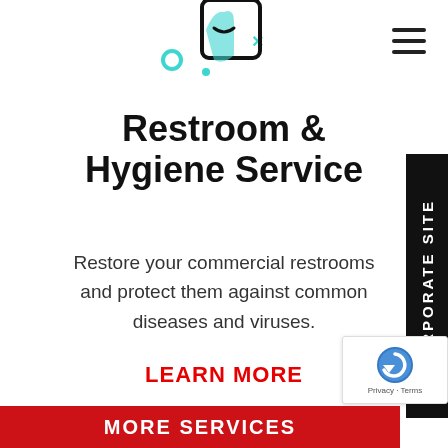[Figure (illustration): Partial illustration of a hand holding a smartphone with teal decorative elements (circles, x marks) around it, visible at top center of page]
[Figure (other): Hamburger menu icon (three horizontal lines) in top right corner]
Restroom & Hygiene Service
Restore your commercial restrooms and protect them against common diseases and viruses.
LEARN MORE
[Figure (other): Black vertical sidebar on right edge with white vertical text reading 'CORPORATE SITE']
[Figure (other): reCAPTCHA badge in bottom right corner showing Google reCAPTCHA logo with 'Privacy - Terms' text]
MORE SERVICES